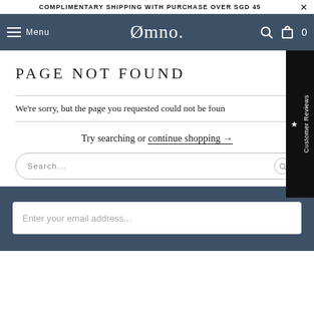COMPLIMENTARY SHIPPING WITH PURCHASE OVER SGD 45
Omno. Menu
PAGE NOT FOUND
We're sorry, but the page you requested could not be found.
Try searching or continue shopping →
Search...
Enter your email address...
[Figure (other): Customer Reviews sidebar tab with star icon]